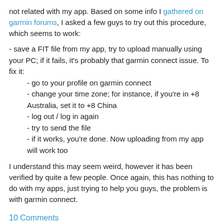not related with my app. Based on some info I gathered on garmin forums, I asked a few guys to try out this procedure, which seems to work:
- save a FIT file from my app, try to upload manually using your PC; if it fails, it's probably that garmin connect issue. To fix it:
- go to your profile on garmin connect
- change your time zone; for instance, if you're in +8 Australia, set it to +8 China
- log out / log in again
- try to send the file
- if it works, you're done. Now uploading from my app will work too
I understand this may seem weird, however it has been verified by quite a few people. Once again, this has nothing to do with my apps, just trying to help you guys, the problem is with garmin connect.
10 Comments